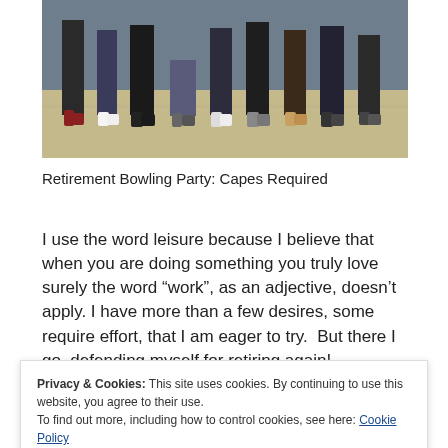[Figure (photo): A group photo showing people's lower bodies / feet standing on a wooden floor, taken from waist down, showing various shoes and pants.]
Retirement Bowling Party: Capes Required
I use the word leisure because I believe that when you are doing something you truly love surely the word “work”, as an adjective, doesn’t apply. I have more than a few desires, some require effort, that I am eager to try.  But there I go, defending myself for retiring again!
What I didn’t realize until now was how much the
Privacy & Cookies: This site uses cookies. By continuing to use this website, you agree to their use.
To find out more, including how to control cookies, see here: Cookie Policy
time for self-reflection, self-analysis, the